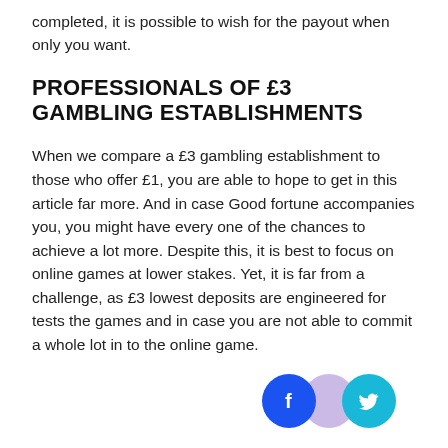completed, it is possible to wish for the payout when only you want.
PROFESSIONALS OF £3 GAMBLING ESTABLISHMENTS
When we compare a £3 gambling establishment to those who offer £1, you are able to hope to get in this article far more. And in case Good fortune accompanies you, you might have every one of the chances to achieve a lot more. Despite this, it is best to focus on online games at lower stakes. Yet, it is far from a challenge, as £3 lowest deposits are engineered for tests the games and in case you are not able to commit a whole lot in to the online game.
[Figure (other): Social media share icons: Facebook (blue circle with f), a purple/lavender overlapping circle, and Twitter (cyan circle with bird icon)]